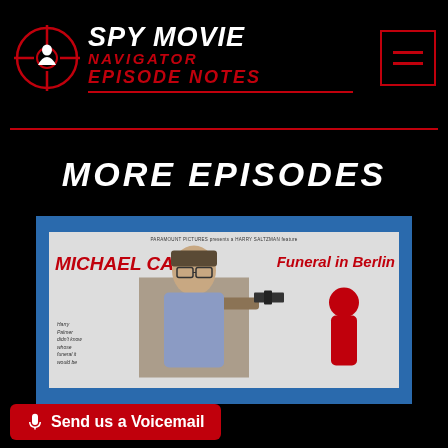[Figure (logo): Spy Movie Navigator logo with crosshair silhouette, white bold italic SPY MOVIE text, red NAVIGATOR text, red italic EPISODE NOTES text, and hamburger menu icon in red border box]
MORE EPISODES
[Figure (photo): Movie poster for Funeral in Berlin featuring Michael Caine pointing a gun, with red and blue border design]
🎙 Send us a Voicemail